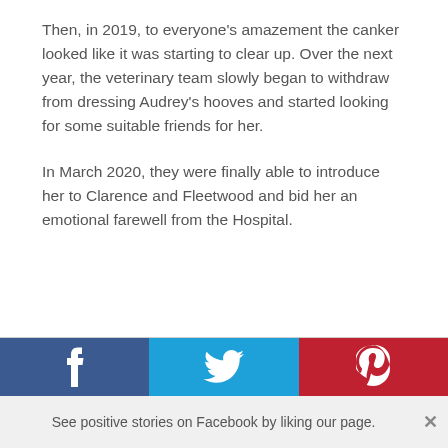Then, in 2019, to everyone's amazement the canker looked like it was starting to clear up. Over the next year, the veterinary team slowly began to withdraw from dressing Audrey's hooves and started looking for some suitable friends for her.
In March 2020, they were finally able to introduce her to Clarence and Fleetwood and bid her an emotional farewell from the Hospital.
[Figure (other): Social sharing bar with three buttons: Facebook (dark blue with f icon), Twitter (light blue with bird icon), Pinterest (red with P icon)]
See positive stories on Facebook by liking our page.